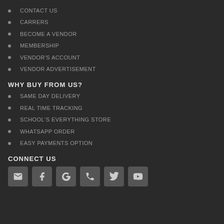CONTACT US
CARRERS
BECOME A VENDOR
MEMBERSHIP
VENDOR'S ACCOUNT
VENDOR ADVERTISEMENT
WHY BUY FROM US?
SAME DAY DELIVERY
REAL TIME TRACKING
SCHOOL'S EVERYTHING STORE
WHATSAPP ORDER
EASY PAYMENTS OPTION
CONNECT US
[Figure (infographic): Social media icon buttons: email, facebook, google+, phone, twitter, youtube]